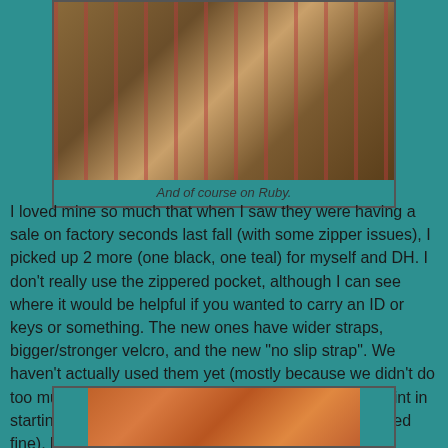[Figure (photo): A rider on a dark bay horse galloping in a red-fenced arena or paddock, wearing a teal saddle pad]
And of course on Ruby.
I loved mine so much that when I saw they were having a sale on factory seconds last fall (with some zipper issues), I picked up 2 more (one black, one teal) for myself and DH. I don't really use the zippered pocket, although I can see where it would be helpful if you wanted to carry an ID or keys or something. The new ones have wider straps, bigger/stronger velcro, and the new "no slip strap". We haven't actually used them yet (mostly because we didn't do too much trail riding this winter, plus I didn't see the point in starting to use the new one when my old one still worked fine), but hopefully we will break them out on some adventures this summer!
[Figure (photo): Close-up of a wooden or leather surface with diagonal reddish-orange grain/stripes]